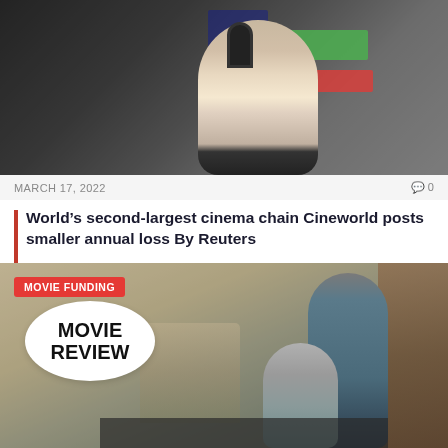[Figure (photo): A person wearing a headset sitting in front of multiple trading/office screens with green and red indicators]
MARCH 17, 2022
0
World’s second-largest cinema chain Cineworld posts smaller annual loss By Reuters
© Reuters. FILE PHOTO: A Cineworld cinema near Manchester, Britain October 4, 2020. REUTERS/Phil Noble…
[Figure (photo): Movie Review promotional image with a man and woman looking at a laptop, with a speech bubble graphic saying MOVIE REVIEW, and a red MOVIE FUNDING badge]